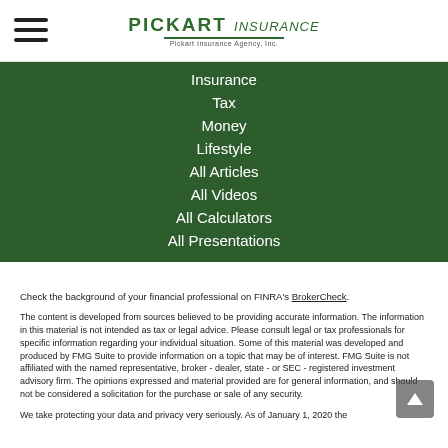PICKART insurance — Pickart Insurance Agency, Inc.
Insurance
Tax
Money
Lifestyle
All Articles
All Videos
All Calculators
All Presentations
Check the background of your financial professional on FINRA's BrokerCheck.
The content is developed from sources believed to be providing accurate information. The information in this material is not intended as tax or legal advice. Please consult legal or tax professionals for specific information regarding your individual situation. Some of this material was developed and produced by FMG Suite to provide information on a topic that may be of interest. FMG Suite is not affiliated with the named representative, broker - dealer, state - or SEC - registered investment advisory firm. The opinions expressed and material provided are for general information, and should not be considered a solicitation for the purchase or sale of any security.
We take protecting your data and privacy very seriously. As of January 1, 2020 the